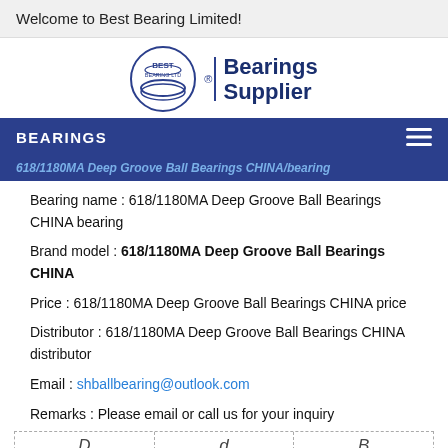Welcome to Best Bearing Limited!
[Figure (logo): Best Bearing Ltd logo with circular emblem and 'Bearings Supplier' text]
BEARINGS
618/1180MA Deep Groove Ball Bearings CHINA/bearing
Bearing name : 618/1180MA Deep Groove Ball Bearings CHINA bearing
Brand model : 618/1180MA Deep Groove Ball Bearings CHINA
Price : 618/1180MA Deep Groove Ball Bearings CHINA price
Distributor : 618/1180MA Deep Groove Ball Bearings CHINA distributor
Email : shballbearing@outlook.com
Remarks : Please email or call us for your inquiry
| D | d | B |
| --- | --- | --- |